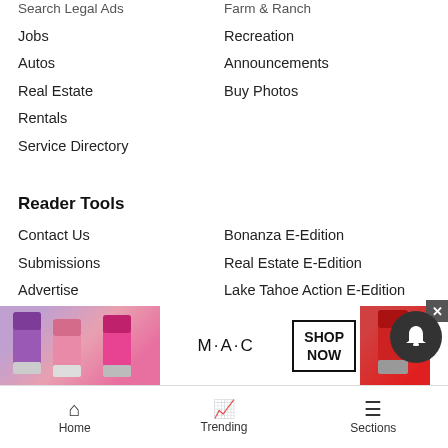Search Legal Ads
Farm & Ranch
Jobs
Recreation
Autos
Announcements
Real Estate
Buy Photos
Rentals
Service Directory
Reader Tools
Contact Us
Bonanza E-Edition
Submissions
Real Estate E-Edition
Advertise
Lake Tahoe Action E-Edition
Archives
Cookie List
Newsletters
Do not sell my personal information
RSS
Tahoe Daily Tribune E-Edition
News Neighbors
Sierra Sun
Grass Valley
[Figure (screenshot): MAC Cosmetics advertisement banner with lipsticks and SHOP NOW button]
Home   Trending   Sections